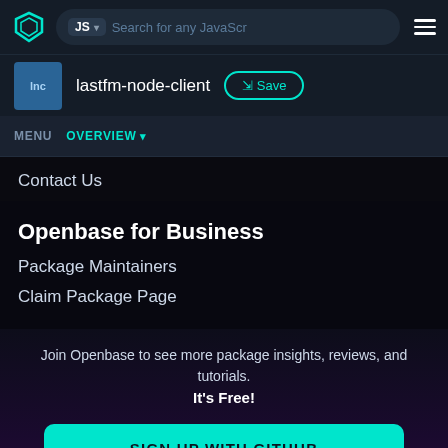[Figure (screenshot): Openbase website navigation bar with logo, JS language selector, search bar, and hamburger menu]
[Figure (screenshot): Package bar showing lastfm-node-client package with blue icon and Save button]
MENU  OVERVIEW
Contact Us
Openbase for Business
Package Maintainers
Claim Package Page
Join Openbase to see more package insights, reviews, and tutorials. It's Free!
SIGN UP WITH GITHUB
By signing up, you agree to our terms and privacy policy